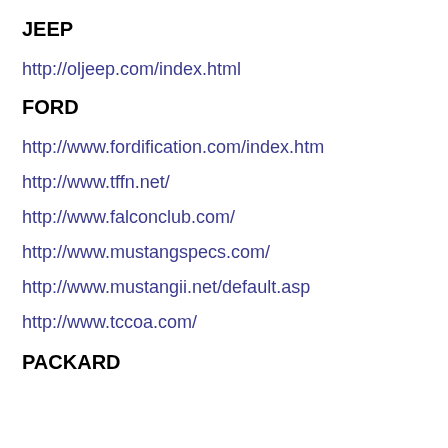JEEP
http://oljeep.com/index.html
FORD
http://www.fordification.com/index.htm
http://www.tffn.net/
http://www.falconclub.com/
http://www.mustangspecs.com/
http://www.mustangii.net/default.asp
http://www.tccoa.com/
PACKARD